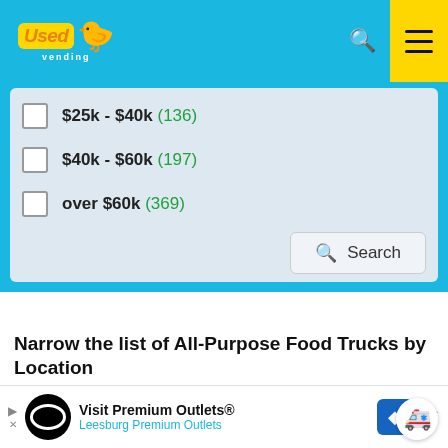[Figure (screenshot): UsedVending website header with logo, search icon, and hamburger menu on yellow background]
$25k - $40k (136)
$40k - $60k (197)
over $60k (369)
Narrow the list of All-Purpose Food Trucks by Location
ALABAMA  ALASKA  ARIZONA
→ 🚨 (•🚚•) 🚨 COVID-19 Causes Huge Discounts - These are going fast! 🚨 ♙•🚚•♙
[Figure (screenshot): Advertisement banner for Visit Premium Outlets / Leesburg Premium Outlets with logo and map pin icon]